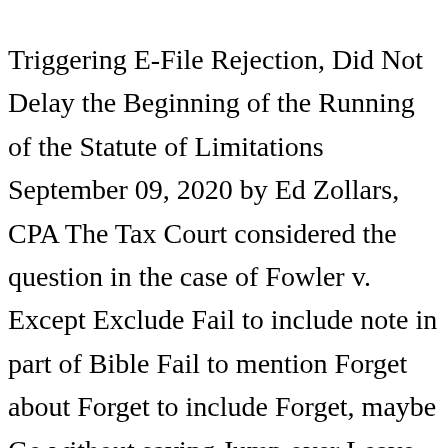Triggering E-File Rejection, Did Not Delay the Beginning of the Running of the Statute of Limitations September 09, 2020 by Ed Zollars, CPA The Tax Court considered the question in the case of Fowler v. Except Exclude Fail to include note in part of Bible Fail to mention Forget about Forget to include Forget, maybe Go without saying Jump over Leave off Leave out Leave out books about Military Intelligence Leave out note in books Miss The following are all examples of gifts that will fail: The person intended to receive the gift is unclear. If you encounter two or more